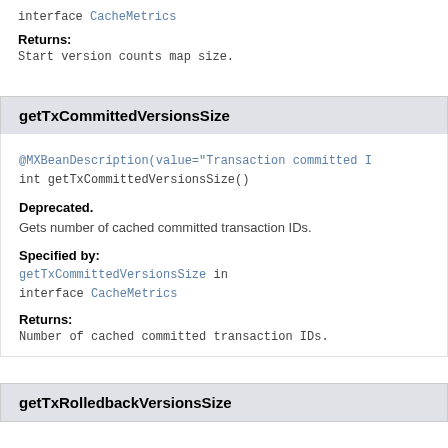interface CacheMetrics
Returns:
Start version counts map size.
getTxCommittedVersionsSize
@MXBeanDescription(value="Transaction committed IDs size map size"
int getTxCommittedVersionsSize()
Deprecated.
Gets number of cached committed transaction IDs.
Specified by:
getTxCommittedVersionsSize in interface CacheMetrics
Returns:
Number of cached committed transaction IDs.
getTxRolledbackVersionsSize